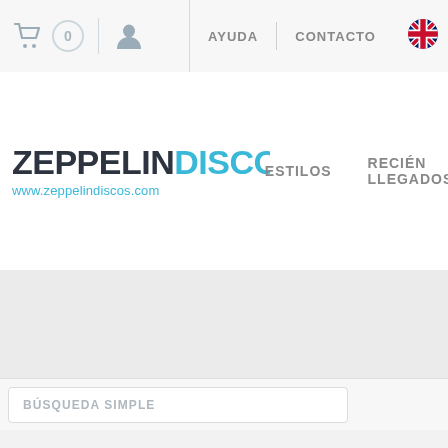[Figure (screenshot): Shopping cart icon with badge showing 0, user/profile icon in top navigation bar]
AYUDA | CONTACTO
ZEPPELINDISCOS www.zeppelindiscos.com
ESTILOS   RECIÉN LLEGADOS
BÚSQUEDA SIMPLE